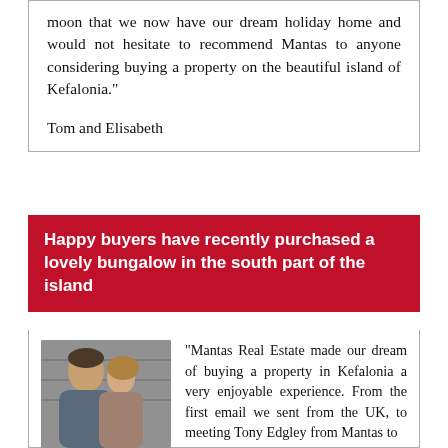moon that we now have our dream holiday home and would not hesitate to recommend Mantas to anyone considering buying a property on the beautiful island of Kefalonia."

Tom and Elisabeth
Happy buyers have recently purchased a lovely bungalow in the south part of the island
[Figure (photo): Couple photo - a man and a woman posing together]
"Mantas Real Estate made our dream of buying a property in Kefalonia a very enjoyable experience. From the first email we sent from the UK, to meeting Tony Edgley from Mantas to